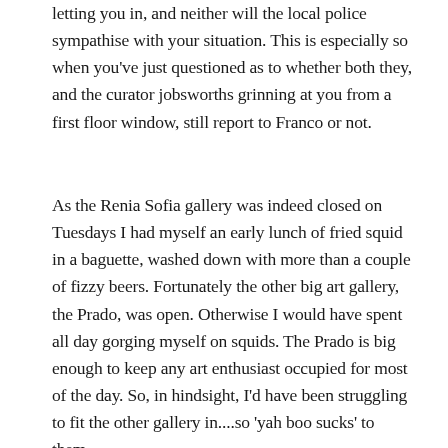letting you in, and neither will the local police sympathise with your situation. This is especially so when you've just questioned as to whether both they, and the curator jobsworths grinning at you from a first floor window, still report to Franco or not.
As the Renia Sofia gallery was indeed closed on Tuesdays I had myself an early lunch of fried squid in a baguette, washed down with more than a couple of fizzy beers. Fortunately the other big art gallery, the Prado, was open. Otherwise I would have spent all day gorging myself on squids. The Prado is big enough to keep any art enthusiast occupied for most of the day. So, in hindsight, I'd have been struggling to fit the other gallery in....so 'yah boo sucks' to them.